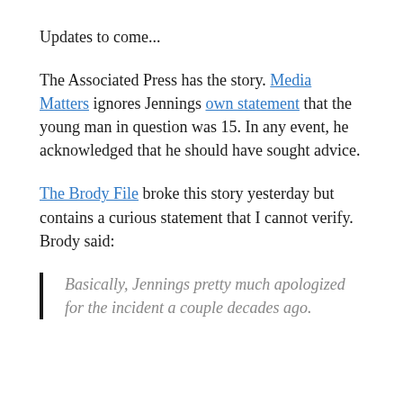Updates to come...
The Associated Press has the story. Media Matters ignores Jennings own statement that the young man in question was 15. In any event, he acknowledged that he should have sought advice.
The Brody File broke this story yesterday but contains a curious statement that I cannot verify. Brody said:
Basically, Jennings pretty much apologized for the incident a couple decades ago.